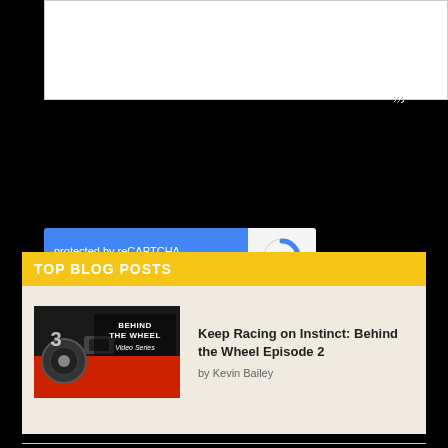[Figure (screenshot): White textarea input box with resize handle at bottom right corner]
[Figure (screenshot): reCAPTCHA widget with blue left panel showing 'protected by reCAPTCHA' and Privacy/Terms links, and white right panel with reCAPTCHA logo]
[Figure (screenshot): Red 'Submit Comment' button]
TOP BLOG POSTS
[Figure (screenshot): Blog post thumbnail showing 'Behind the Wheel Video Series' automotive content]
Keep Racing on Instinct: Behind the Wheel Episode 2
by Kevin Bailey